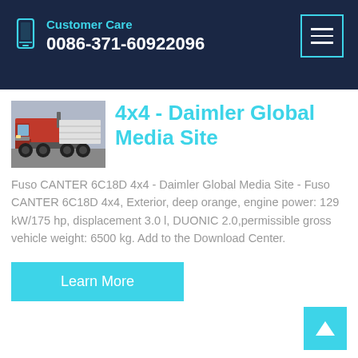Customer Care
0086-371-60922096
4x4 - Daimler Global Media Site
Fuso CANTER 6C18D 4x4 - Daimler Global Media Site - Fuso CANTER 6C18D 4x4, Exterior, deep orange, engine power: 129 kW/175 hp, displacement 3.0 l, DUONIC 2.0,permissible gross vehicle weight: 6500 kg. Add to the Download Center.
Learn More